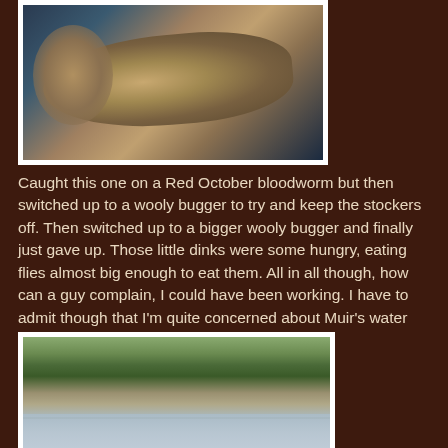[Figure (photo): A rainbow trout fish held in a dark mesh net, viewed from above, with speckled coloring visible.]
Caught this one on a Red October bloodworm but then switched up to a wooly bugger to try and keep the stockers off.  Then switched up to a bigger wooly bugger and finally just gave up.  Those little dinks were some hungry, eating flies almost big enough to eat them.  All in all though, how can a guy complain, I could have been working.  I have to admit though that I'm quite concerned about Muir's water level.  Just click this photo and take a look.
[Figure (photo): A lake shoreline with low water level, muddy banks exposed, green trees in background, overcast sky.]